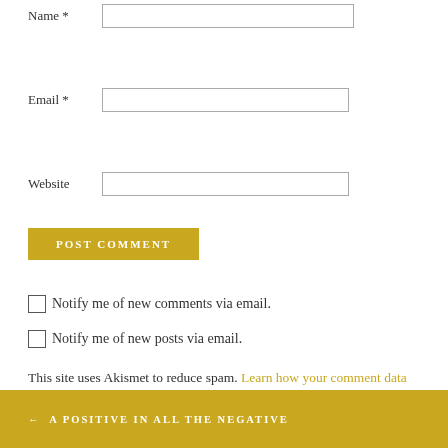Name *
Email *
Website
POST COMMENT
Notify me of new comments via email.
Notify me of new posts via email.
This site uses Akismet to reduce spam. Learn how your comment data is processed.
← A POSITIVE IN ALL THE NEGATIVE